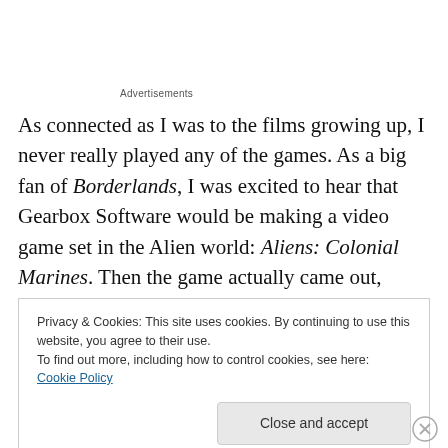Advertisements
As connected as I was to the films growing up, I never really played any of the games. As a big fan of Borderlands, I was excited to hear that Gearbox Software would be making a video game set in the Alien world: Aliens: Colonial Marines. Then the game actually came out, along with a firestorm of controversy, finger-pointing, and disappointed gamers.
Privacy & Cookies: This site uses cookies. By continuing to use this website, you agree to their use.
To find out more, including how to control cookies, see here: Cookie Policy